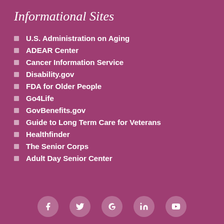Informational Sites
U.S. Administration on Aging
ADEAR Center
Cancer Information Service
Disability.gov
FDA for Older People
Go4Life
GovBenefits.gov
Guide to Long Term Care for Veterans
Healthfinder
The Senior Corps
Adult Day Senior Center
[Figure (other): Social media icons: Facebook, Twitter, Google+, LinkedIn, YouTube]